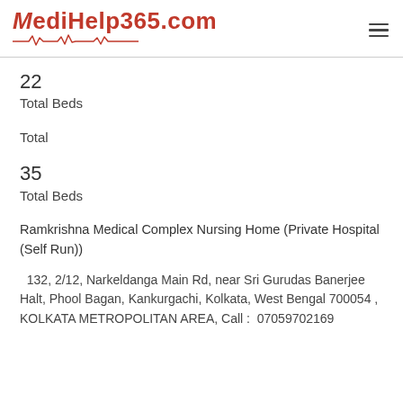MediHelp365.com
22
Total Beds
Total
35
Total Beds
Ramkrishna Medical Complex Nursing Home (Private Hospital (Self Run))
132, 2/12, Narkeldanga Main Rd, near Sri Gurudas Banerjee Halt, Phool Bagan, Kankurgachi, Kolkata, West Bengal 700054 , KOLKATA METROPOLITAN AREA, Call :  07059702169